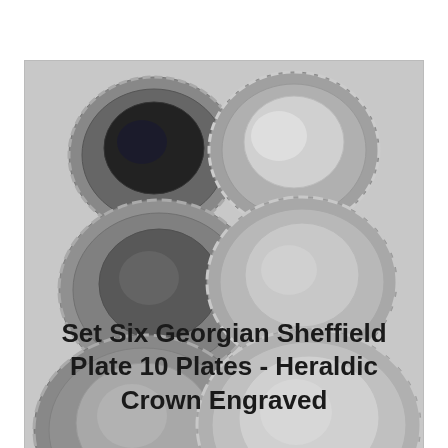[Figure (photo): Six silver Sheffield plate dishes arranged in three rows of two, photographed from above on a white surface. The plates are round with decorative scalloped edges and reflective silver surfaces.]
Set Six Georgian Sheffield Plate 10 Plates - Heraldic Crown Engraved